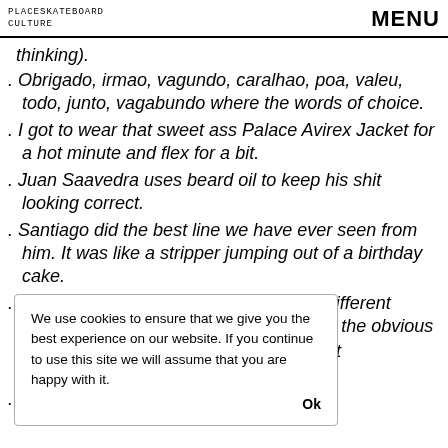PLACESKATEBOARD CULTURE   MENU
thinking).
Obrigado, irmao, vagundo, caralhao, poa, valeu, todo, junto, vagabundo where the words of choice.
I got to wear that sweet ass Palace Avirex Jacket for a hot minute and flex for a bit.
Juan Saavedra uses beard oil to keep his shit looking correct.
Santiago did the best line we have ever seen from him. It was like a stripper jumping out of a birthday cake.
David & Vincent are like brothers from different mothers. The only difference other than the obvious being...t pack...
Mar...
We use cookies to ensure that we give you the best experience on our website. If you continue to use this site we will assume that you are happy with it. Ok